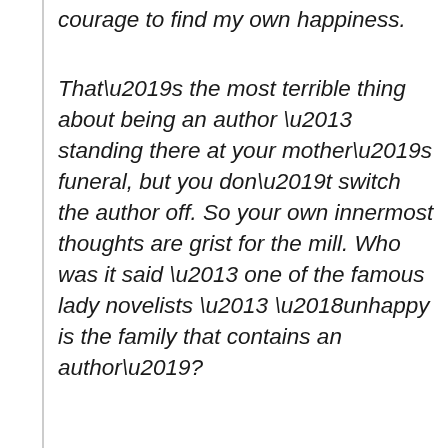courage to find my own happiness.
That’s the most terrible thing about being an author – standing there at your mother’s funeral, but you don’t switch the author off. So your own innermost thoughts are grist for the mill. Who was it said – one of the famous lady novelists – ‘unhappy is the family that contains an author’?